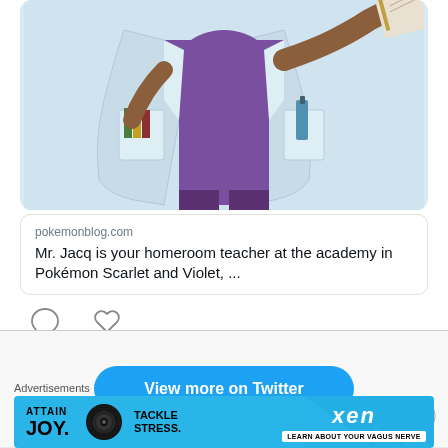[Figure (illustration): Anime-style illustration of Mr. Jacq, a Pokémon character wearing a light blue lab coat over a purple outfit, holding a book, with items in pockets. Only the body from neck downward is visible, cut off at the top.]
pokemonblog.com
Mr. Jacq is your homeroom teacher at the academy in Pokémon Scarlet and Violet, ...
View more on Twitter
Advertisements
[Figure (screenshot): Advertisement banner with cyan/light blue background showing 'ATTAIN JOY.' on the left with a vinyl record icon, 'TACKLE STRESS.' in the middle, and 'xen LEARN ABOUT YOUR VAGUS NERVE' on the right with decorative triangles.]